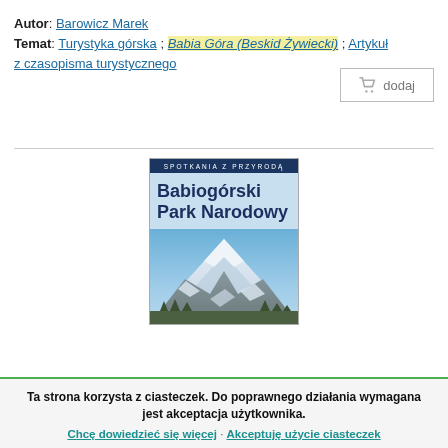Autor: Barowicz Marek
Temat: Turystyka górska ; Babia Góra (Beskid Żywiecki) ; Artykuł z czasopisma turystycznego
[Figure (other): Button with shopping basket icon and 'dodaj' label]
[Figure (illustration): Book cover: Babiogórski Park Narodowy, series Spotkania z Przyrodą, with snowy mountain photo]
Ta strona korzysta z ciasteczek. Do poprawnego działania wymagana jest akceptacja użytkownika.
Chcę dowiedzieć się więcej · Akceptuję użycie ciasteczek